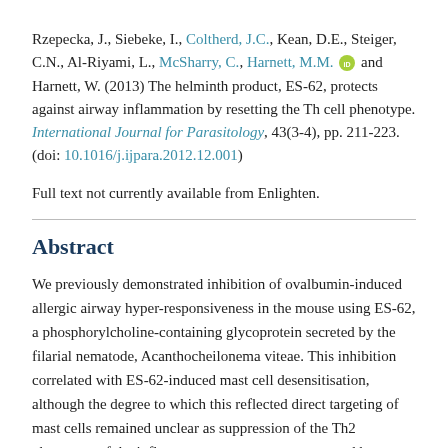Rzepecka, J., Siebeke, I., Coltherd, J.C., Kean, D.E., Steiger, C.N., Al-Riyami, L., McSharry, C., Harnett, M.M. [ORCID] and Harnett, W. (2013) The helminth product, ES-62, protects against airway inflammation by resetting the Th cell phenotype. International Journal for Parasitology, 43(3-4), pp. 211-223. (doi: 10.1016/j.ijpara.2012.12.001)
Full text not currently available from Enlighten.
Abstract
We previously demonstrated inhibition of ovalbumin-induced allergic airway hyper-responsiveness in the mouse using ES-62, a phosphorylcholine-containing glycoprotein secreted by the filarial nematode, Acanthocheilonema viteae. This inhibition correlated with ES-62-induced mast cell desensitisation, although the degree to which this reflected direct targeting of mast cells remained unclear as suppression of the Th2 phenotype of the inflammatory response, as measured by eosinophilia and IL-4 levels in the lungs, was also observed. We now show that inhibition of the lung Th2 phenotype is reflected in ex vivo